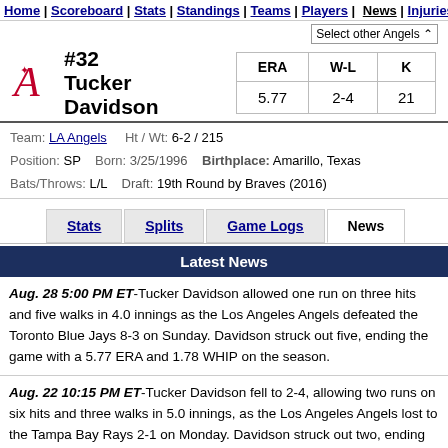Home | Scoreboard | Stats | Standings | Teams | Players | News | Injuries | Tra...
Select other Angels
#32 Tucker Davidson
| ERA | W-L | K |
| --- | --- | --- |
| 5.77 | 2-4 | 21 |
Team: LA Angels   Ht / Wt: 6-2 / 215
Position: SP   Born: 3/25/1996   Birthplace: Amarillo, Texas
Bats/Throws: L/L   Draft: 19th Round by Braves (2016)
Stats | Splits | Game Logs | News
Latest News
Aug. 28 5:00 PM ET-Tucker Davidson allowed one run on three hits and five walks in 4.0 innings as the Los Angeles Angels defeated the Toronto Blue Jays 8-3 on Sunday. Davidson struck out five, ending the game with a 5.77 ERA and 1.78 WHIP on the season.
Aug. 22 10:15 PM ET-Tucker Davidson fell to 2-4, allowing two runs on six hits and three walks in 5.0 innings, as the Los Angeles Angels lost to the Tampa Bay Rays 2-1 on Monday. Davidson struck out two, ending the game with a 6.23